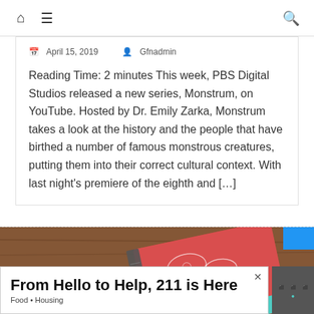Home | Menu | Search
April 15, 2019   Gfnadmin
Reading Time: 2 minutes This week, PBS Digital Studios released a new series, Monstrum, on YouTube. Hosted by Dr. Emily Zarka, Monstrum takes a look at the history and the people that have birthed a number of famous monstrous creatures, putting them into their correct cultural context. With last night’s premiere of the eighth and […]
[Figure (photo): Photo of a decorative notebook/journal with red paisley pattern cover placed on a wooden surface]
From Hello to Help, 211 is Here
Food • Housing